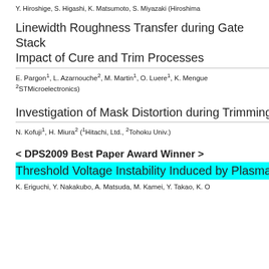Y. Hiroshige, S. Higashi, K. Matsumoto, S. Miyazaki (Hiroshima…
Linewidth Roughness Transfer during Gate Stack Formation: Impact of Cure and Trim Processes
E. Pargon1, L. Azarnouche2, M. Martin1, O. Luere1, K. Mengue… 2STMicroelectronics)
Investigation of Mask Distortion during Trimming…
N. Kofuji1, H. Miura2 (1Hitachi, Ltd., 2Tohoku Univ.)
< DPS2009 Best Paper Award Winner >
Threshold Voltage Instability Induced by Plasma…
K. Eriguchi, Y. Nakakubo, A. Matsuda, M. Kamei, Y. Takao, K. O…